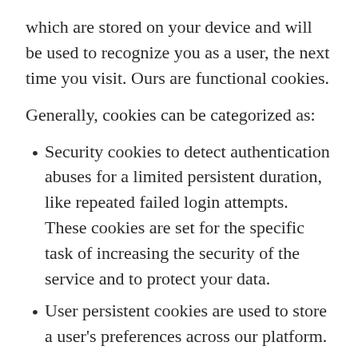which are stored on your device and will be used to recognize you as a user, the next time you visit. Ours are functional cookies.
Generally, cookies can be categorized as:
Security cookies to detect authentication abuses for a limited persistent duration, like repeated failed login attempts. These cookies are set for the specific task of increasing the security of the service and to protect your data.
User persistent cookies are used to store a user's preferences across our platform.
Multimedia cookies are used for the duration of a session to store technical data needed to play back video or audio content (continues on next page)